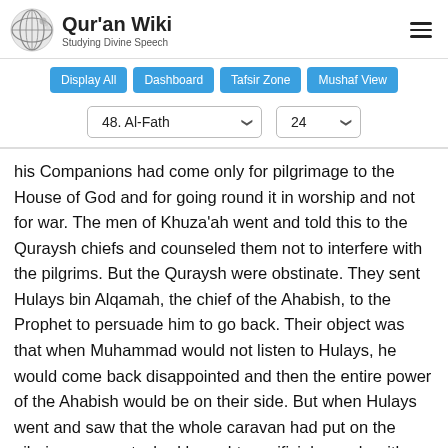Qur'an Wiki — Studying Divine Speech
Display All
Dashboard
Tafsir Zone
Mushaf View
48. Al-Fath | 24
his Companions had come only for pilgrimage to the House of God and for going round it in worship and not for war. The men of Khuza‘ah went and told this to the Quraysh chiefs and counseled them not to interfere with the pilgrims. But the Quraysh were obstinate. They sent Hulays bin Alqamah, the chief of the Ahabish, to the Prophet to persuade him to go back. Their object was that when Muhammad would not listen to Hulays, he would come back disappointed and then the entire power of the Ahabish would be on their side. But when Hulays went and saw that the whole caravan had put on the pilgrims garments, had brought sacrificial camels with festive collars round their necks, and had come fo doing reverence to the House of God and not to fight,